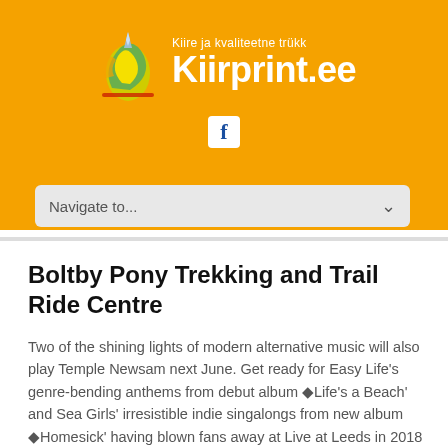[Figure (logo): Kiirprint.ee logo with orange background, stylized pen/feather icon in green and yellow, tagline 'Kiire ja kvaliteetne trükk' and main text 'Kiirprint.ee' in white bold]
[Figure (logo): Facebook 'f' icon in dark blue on white rounded square background]
Navigate to...
Boltby Pony Trekking and Trail Ride Centre
Two of the shining lights of modern alternative music will also play Temple Newsam next June. Get ready for Easy Life's genre-bending anthems from debut album ◆Life's a Beach' and Sea Girls' irresistible indie singalongs from new album ◆Homesick' having blown fans away at Live at Leeds in 2018 and 2019. Also on the bill, the groovy